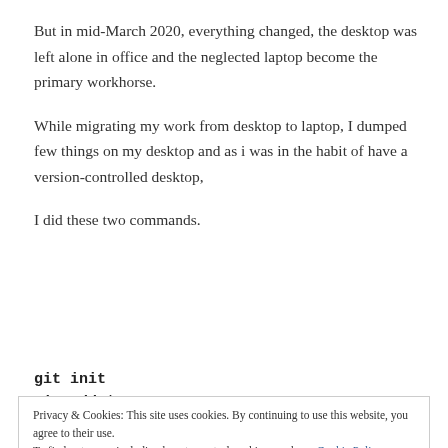But in mid-March 2020, everything changed, the desktop was left alone in office and the neglected laptop become the primary workhorse.
While migrating my work from desktop to laptop, I dumped few things on my desktop and as i was in the habit of have a version-controlled desktop,
I did these two commands.
git init
git add *
Privacy & Cookies: This site uses cookies. By continuing to use this website, you agree to their use.
To find out more, including how to control cookies, see here: Cookie Policy
Close and accept